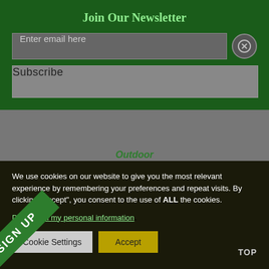Join Our Newsletter
Enter email here
Subscribe
[Figure (logo): Outdoor Insight logo with text 'Outdoor Insight' and URL 'outdoorinsightglobal']
We use cookies on our website to give you the most relevant experience by remembering your preferences and repeat visits. By clicking “Accept”, you consent to the use of ALL the cookies.
Do not sell my personal information.
Cookie Settings
Accept
TOP
SIGN UP